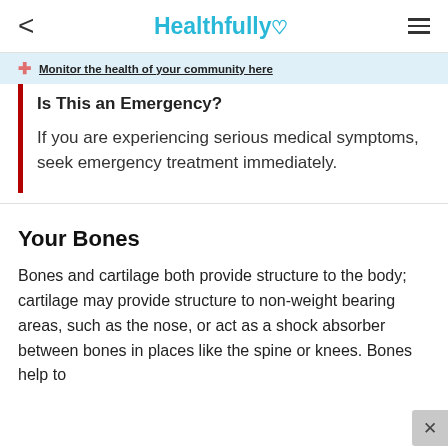< Healthfully ♥ ≡
Monitor the health of your community here
Is This an Emergency?
If you are experiencing serious medical symptoms, seek emergency treatment immediately.
Your Bones
Bones and cartilage both provide structure to the body; cartilage may provide structure to non-weight bearing areas, such as the nose, or act as a shock absorber between bones in places like the spine or knees. Bones help to